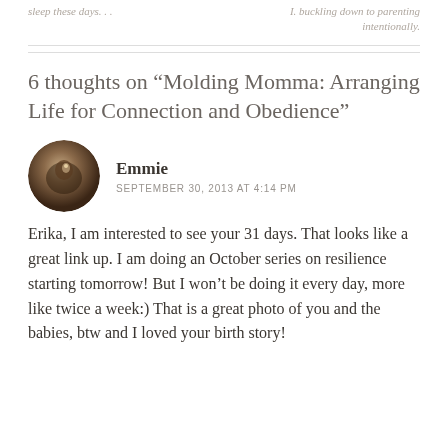sleep these days. . .
I. buckling down to parenting intentionally.
6 thoughts on “Molding Momma: Arranging Life for Connection and Obedience”
[Figure (illustration): Circular avatar image of commenter Emmie, dark brown tones with a candle or light source.]
Emmie
SEPTEMBER 30, 2013 AT 4:14 PM
Erika, I am interested to see your 31 days. That looks like a great link up. I am doing an October series on resilience starting tomorrow! But I won’t be doing it every day, more like twice a week:) That is a great photo of you and the babies, btw and I loved your birth story!